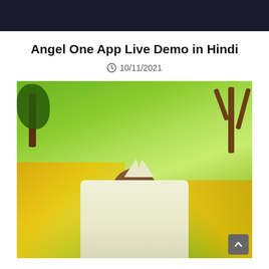[Figure (photo): Dark banner/header image at the top of the page]
Angel One App Live Demo in Hindi
10/11/2021
[Figure (photo): Photograph of an Indian man in a white shirt standing outdoors with a green field and trees in the background]